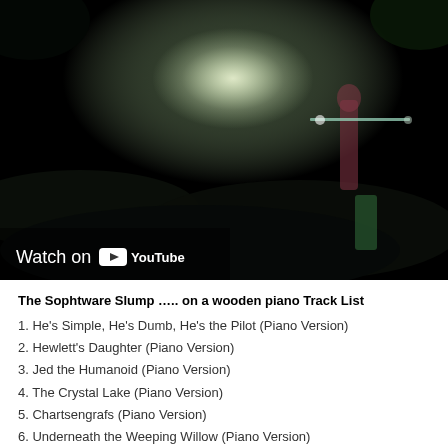[Figure (screenshot): Dark video thumbnail showing a dimly lit forest/outdoor scene at night with a glowing light source in the upper center. A 'Watch on YouTube' overlay appears in the lower left corner with the YouTube logo.]
The Sophtware Slump ….. on a wooden piano Track List
1. He's Simple, He's Dumb, He's the Pilot (Piano Version)
2. Hewlett's Daughter (Piano Version)
3. Jed the Humanoid (Piano Version)
4. The Crystal Lake (Piano Version)
5. Chartsengrafs (Piano Version)
6. Underneath the Weeping Willow (Piano Version)
7. Broken Household Appliance National Forest (Piano Version)